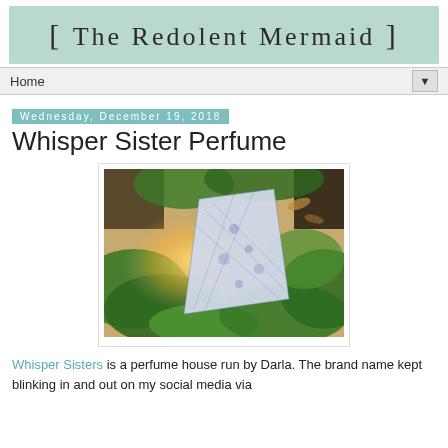[ The Redolent Mermaid ]
Home ▼
Wednesday, December 19, 2018
Whisper Sister Perfume
[Figure (photo): A blue and white lace/patterned fabric or book resting on green moss, with warm bokeh light in the background, shot from above.]
Whisper Sisters is a perfume house run by Darla. The brand name kept blinking in and out on my social media via